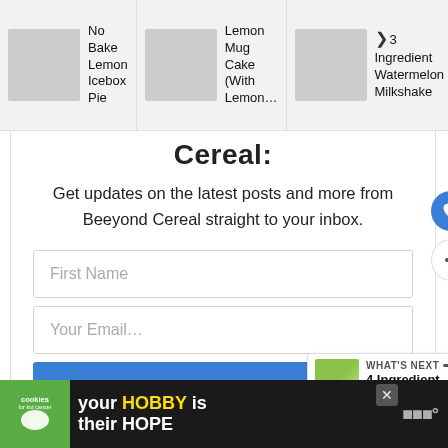[Figure (screenshot): Top navigation bar with three recipe links: 'No Bake Lemon Icebox Pie', 'Lemon Mug Cake (With Lemon...)', '3 Ingredient Watermelon Milkshake' with thumbnail images]
Cereal:
Get updates on the latest posts and more from Beeyond Cereal straight to your inbox.
[Figure (screenshot): Email subscription form with First Name input, Your Email input, SUBSCRIBE button, and consent checkbox saying 'I consent to receiving emails and personalized ads.']
[Figure (screenshot): Bottom advertisement bar with green cookies logo, 'your HOBBY is their HOPE' tagline on dark background]